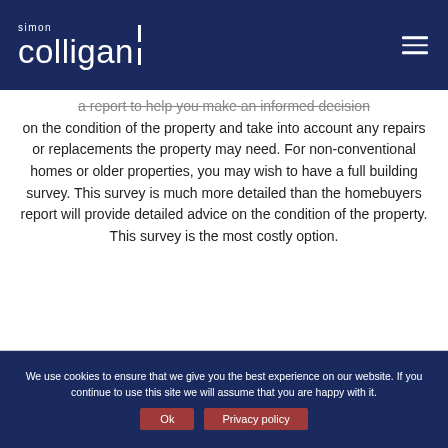simon colligan
a report to help you make an informed decision on the condition of the property and take into account any repairs or replacements the property may need. For non-conventional homes or older properties, you may wish to have a full building survey. This survey is much more detailed than the homebuyers report will provide detailed advice on the condition of the property. This survey is the most costly option.
We use cookies to ensure that we give you the best experience on our website. If you continue to use this site we will assume that you are happy with it.